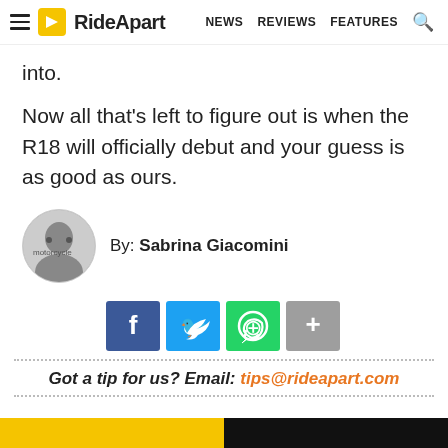RideApart — NEWS  REVIEWS  FEATURES
into.
Now all that's left to figure out is when the R18 will officially debut and your guess is as good as ours.
By: Sabrina Giacomini
[Figure (illustration): Social share buttons: Facebook (blue), Twitter (light blue), WhatsApp (green), More (grey)]
Got a tip for us? Email: tips@rideapart.com